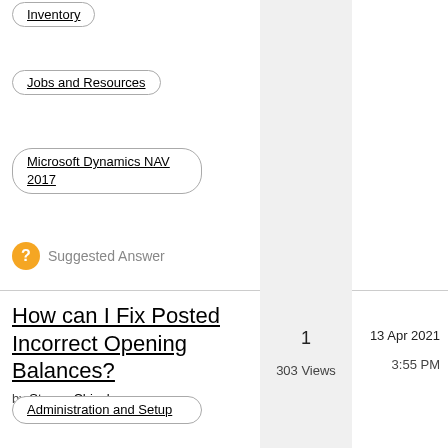Inventory
Jobs and Resources
Microsoft Dynamics NAV 2017
Suggested Answer
How can I Fix Posted Incorrect Opening Balances? by Steven Chinsky
1  303 Views  13 Apr 2021  3:55 PM
Administration and Setup